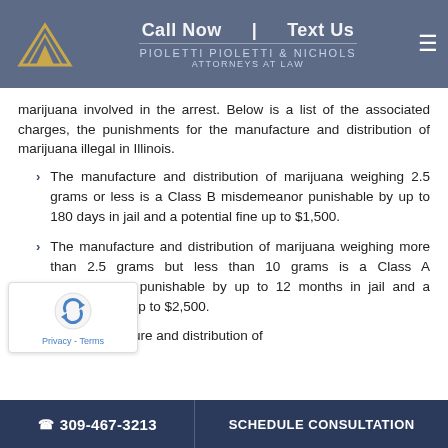PIOLETTI PIOLETTI & NICHOLS | ATTORNEYS AT LAW | Call Now | Text Us
marijuana involved in the arrest. Below is a list of the associated charges, the punishments for the manufacture and distribution of marijuana illegal in Illinois.
The manufacture and distribution of marijuana weighing 2.5 grams or less is a Class B misdemeanor punishable by up to 180 days in jail and a potential fine up to $1,500.
The manufacture and distribution of marijuana weighing more than 2.5 grams but less than 10 grams is a Class A misdemeanor punishable by up to 12 months in jail and a potential fine up to $2,500.
The manufacture and distribution of
309-467-3213 | SCHEDULE CONSULTATION